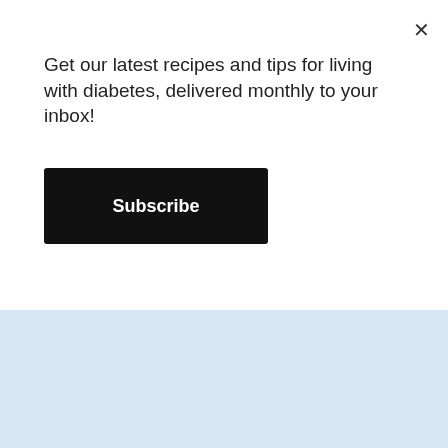Get our latest recipes and tips for living with diabetes, delivered monthly to your inbox!
Subscribe
[Figure (screenshot): Light blue background content area]
[Figure (screenshot): Dark gray footer band]
[Figure (advertisement): Pure Earth ad banner: 'We believe the global pollution crisis can be solved. In a world where pollution doesn't stop at borders, we can all be part of the solution. JOIN US.' with Pure Earth logo on right side white background.]